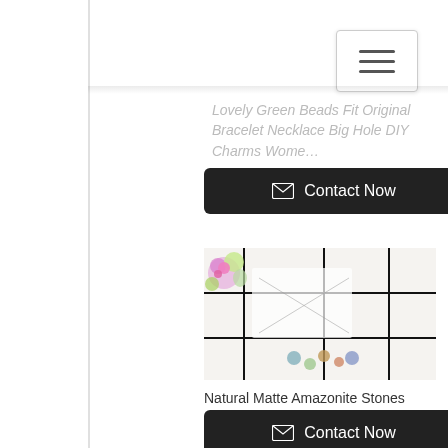[Figure (screenshot): Hamburger menu button (three horizontal lines) in upper right corner]
Lovely Green Beads Fit Original Bracelet Necklace Big Hole DIY Charms Wome…
Contact Now
[Figure (photo): Product photo showing beaded jewelry and accessories on a white background with black grid lines and colorful flowers]
Natural Matte Amazonite Stones Endless Necklace
Contact Now